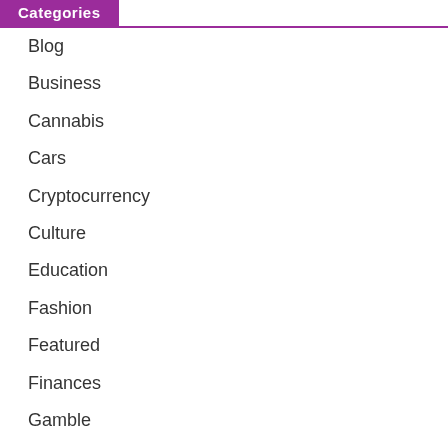Categories
Blog
Business
Cannabis
Cars
Cryptocurrency
Culture
Education
Fashion
Featured
Finances
Gamble
Gaming
Health
Home